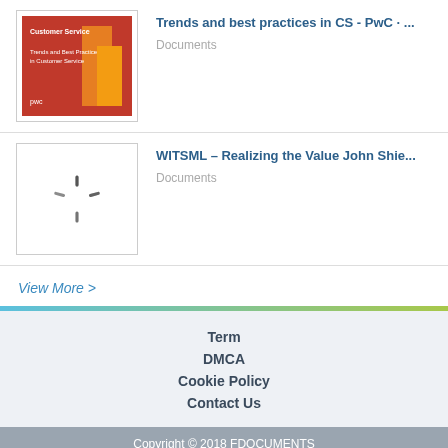[Figure (screenshot): Thumbnail of PwC Customer Service document with red/orange cover]
Trends and best practices in CS - PwC · ...
Documents
[Figure (photo): Loading spinner icon on white background]
WITSML – Realizing the Value John Shie...
Documents
View More >
Term
DMCA
Cookie Policy
Contact Us
Copyright © 2018 FDOCUMENTS